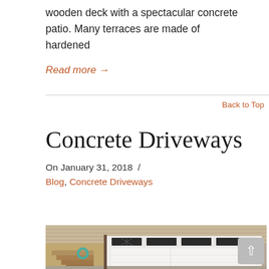wooden deck with a spectacular concrete patio. Many terraces are made of hardened
Read more →
Back to Top
Concrete Driveways
On January 31, 2018  /
Blog, Concrete Driveways
[Figure (photo): Photograph of a house garage with a white sectional garage door, tan/beige horizontal siding, wooden stairs on the left with a teal garden hose hanging, and a concrete driveway visible at the bottom.]